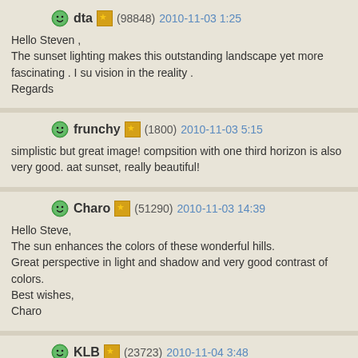dta (98848) 2010-11-03 1:25
Hello Steven ,
The sunset lighting makes this outstanding landscape yet more fascinating . I su vision in the reality .
Regards
frunchy (1800) 2010-11-03 5:15
simplistic but great image! compsition with one third horizon is also very good. aat sunset, really beautiful!
Charo (51290) 2010-11-03 14:39
Hello Steve,
The sun enhances the colors of these wonderful hills.
Great perspective in light and shadow and very good contrast of colors.
Best wishes,
Charo
KLB (23723) 2010-11-04 3:48
Hello Steven